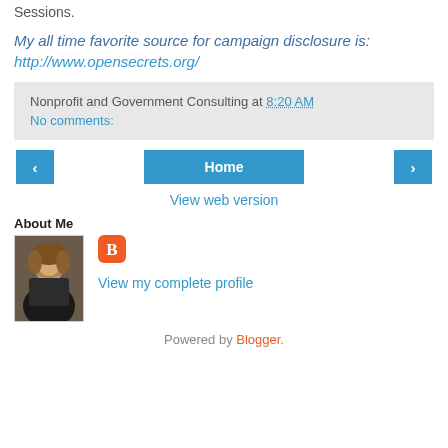Sessions.
My all time favorite source for campaign disclosure is: http://www.opensecrets.org/
Nonprofit and Government Consulting at 8:20 AM
No comments:
[Figure (other): Navigation buttons: left arrow, Home, right arrow]
View web version
About Me
[Figure (photo): Profile photo of a woman in a dark blazer with red blouse, smiling]
View my complete profile
Powered by Blogger.